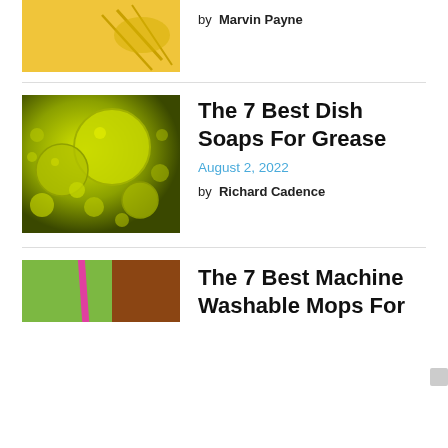[Figure (photo): Yellow background image with green plant/food detail, partially visible at top]
by  Marvin Payne
[Figure (photo): Close-up photo of yellow-green oil bubbles or spheres on a dark green background]
The 7 Best Dish Soaps For Grease
August 2, 2022
by  Richard Cadence
[Figure (photo): Partial photo of a mop with pink/magenta stick against green and brown background]
The 7 Best Machine Washable Mops For